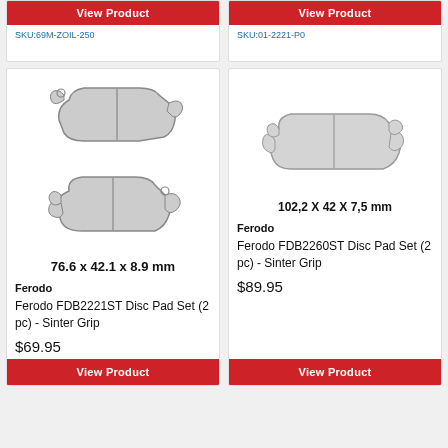View Product
SKU:69M-ZOIL-250
View Product
SKU:01-2221-P0
[Figure (illustration): Two brake pads stacked, left product]
76.6 x 42.1 x 8.9 mm
Ferodo
Ferodo FDB2221ST Disc Pad Set (2 pc) - Sinter Grip
$69.95
View Product
[Figure (illustration): One brake pad, right product]
102,2 X 42 X 7,5 mm
Ferodo
Ferodo FDB2260ST Disc Pad Set (2 pc) - Sinter Grip
$89.95
View Product